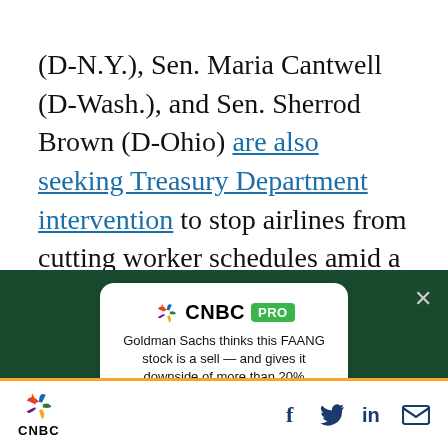(D-N.Y.), Sen. Maria Cantwell (D-Wash.), and Sen. Sherrod Brown (D-Ohio) are also seeking Treasury Department intervention to stop airlines from cutting worker schedules amid a slump in demand, saying it violates the terms of the aid, that prohibit them from laying off or reducing the pay rates of employees through
[Figure (screenshot): CNBC PRO advertisement card with green background overlay. White rounded card showing CNBC PRO logo, headline 'Goldman Sachs thinks this FAANG stock is a sell — and gives it downside of more than 20%', and a green Subscribe Now button. An X close button appears top right.]
[Figure (logo): CNBC footer with peacock logo on the left, and social media icons (Facebook, Twitter, LinkedIn, email) on the right, on a white bar with an orange top border.]